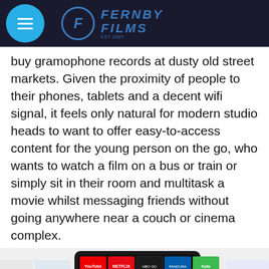Fernby Films
buy gramophone records at dusty old street markets. Given the proximity of people to their phones, tablets and a decent wifi signal, it feels only natural for modern studio heads to want to offer easy-to-access content for the young person on the go, who wants to watch a film on a bus or train or simply sit in their room and multitask a movie whilst messaging friends without going anywhere near a couch or cinema complex.
[Figure (photo): Smart TV displaying streaming service apps including YouTube, Netflix, Pandora, hulu, epix, PLEX, vevo and others, with a set-top box below it, and colorful app tiles surrounding the TV screen.]